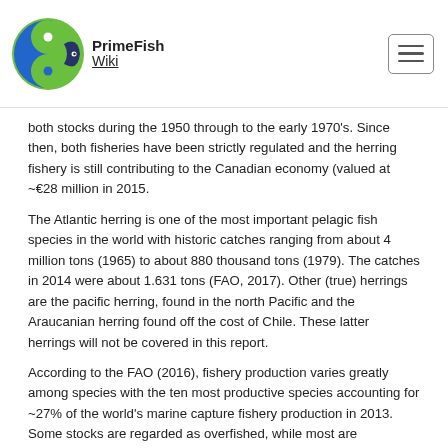PrimeFish Wiki
both stocks during the 1950 through to the early 1970's. Since then, both fisheries have been strictly regulated and the herring fishery is still contributing to the Canadian economy (valued at ~€28 million in 2015.
The Atlantic herring is one of the most important pelagic fish species in the world with historic catches ranging from about 4 million tons (1965) to about 880 thousand tons (1979). The catches in 2014 were about 1.631 tons (FAO, 2017). Other (true) herrings are the pacific herring, found in the north Pacific and the Araucanian herring found off the cost of Chile. These latter herrings will not be covered in this report.
According to the FAO (2016), fishery production varies greatly among species with the ten most productive species accounting for ~27% of the world's marine capture fishery production in 2013. Some stocks are regarded as overfished, while most are considered fully fished without potential for further increase in production. The Atlantic herring stocks on both the northeast and the northwest Atlantic are considered fully fished.